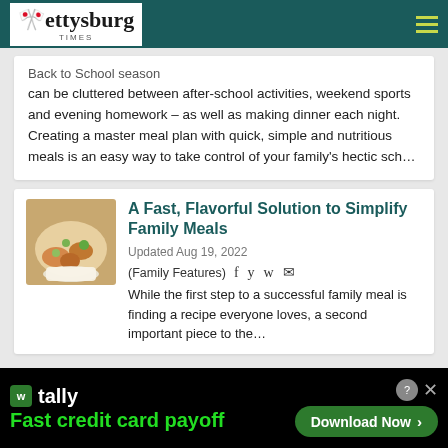Gettysburg Times
Back to School season can be cluttered between after-school activities, weekend sports and evening homework – as well as making dinner each night. Creating a master meal plan with quick, simple and nutritious meals is an easy way to take control of your family's hectic sch…
[Figure (photo): Food photo showing a bowl with meatballs and colorful vegetables]
A Fast, Flavorful Solution to Simplify Family Meals
Updated Aug 19, 2022
(Family Features)
While the first step to a successful family meal is finding a recipe everyone loves, a second important piece to the…
[Figure (screenshot): Tally app advertisement banner: 'Fast credit card payoff' with Download Now button]